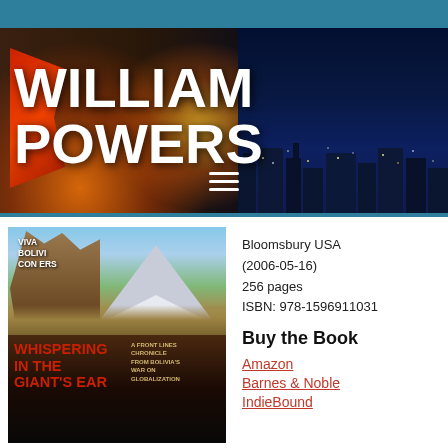[Figure (screenshot): Website header banner for William Powers with large white bold text 'WILLIAM POWERS' over a composite background showing fire/flames on the left and a city skyline at night on the right, with a hamburger menu icon at the bottom center]
[Figure (photo): Book cover of 'Whispering in the Giant's Ear' by William Powers, showing mountain/ruins landscape on top half and dark background with red title text on the bottom half, with subtitle 'A Front Lines Chronicle from Bolivia's War on Globalization']
Bloomsbury USA (2006-05-16)
256 pages
ISBN: 978-1596911031
Buy the Book
Amazon
Barnes & Noble
IndieBound